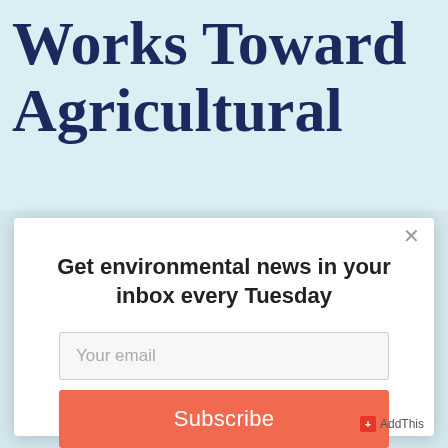Works Toward Agricultural
Get environmental news in your inbox every Tuesday
Your email
Subscribe
AddThis